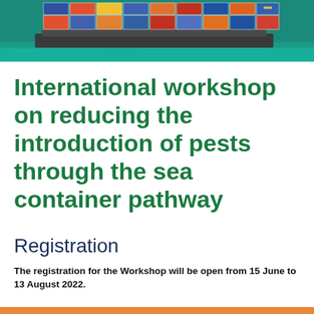[Figure (photo): Aerial view of a large container ship loaded with colorful shipping containers on blue-green ocean water]
International workshop on reducing the introduction of pests through the sea container pathway
Registration
The registration for the Workshop will be open from 15 June to 13 August 2022.